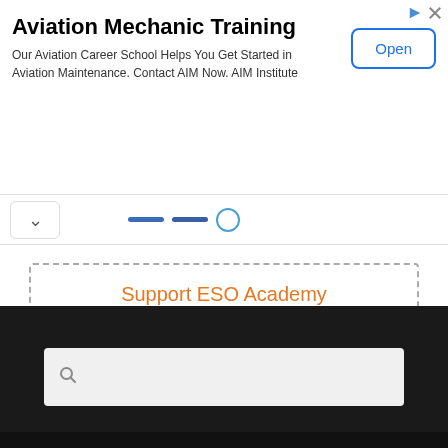[Figure (screenshot): Advertisement banner for Aviation Mechanic Training by AIM Institute with an Open button]
Aviation Mechanic Training
Our Aviation Career School Helps You Get Started in Aviation Maintenance. Contact AIM Now. AIM Institute
Support ESO Academy
[Figure (screenshot): PayPal Donate button in yellow/gold color]
[Figure (screenshot): Search bar with magnifying glass icon on dark background footer]